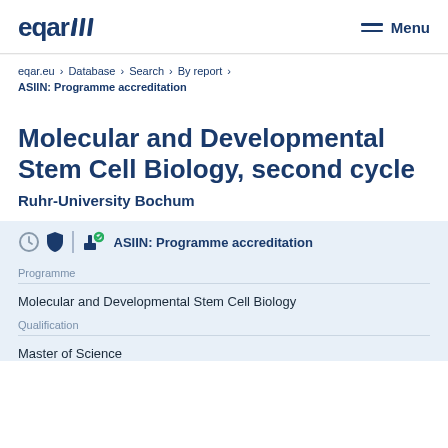eqar/// Menu
eqar.eu > Database > Search > By report > ASIIN: Programme accreditation
Molecular and Developmental Stem Cell Biology, second cycle
Ruhr-University Bochum
ASIIN: Programme accreditation
Programme
Molecular and Developmental Stem Cell Biology
Qualification
Master of Science